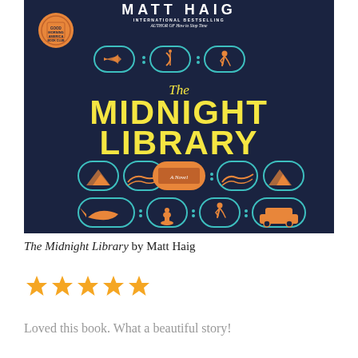[Figure (illustration): Book cover of 'The Midnight Library' by Matt Haig. Dark navy blue background with yellow title text and orange illustrated icons in pill/capsule shapes (airplane, violin, walking figure, mountain, book labeled 'A Novel', chess piece, whale, car). Orange circular medal badge top left. Author name in white at top.]
The Midnight Library by Matt Haig
[Figure (other): Four and a half orange star rating]
Loved this book. What a beautiful story!